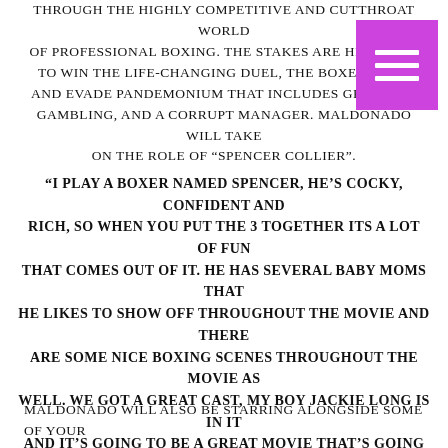THROUGH THE HIGHLY COMPETITIVE AND CUTTHROAT WORLD OF PROFESSIONAL BOXING. THE STAKES ARE HIGH, AND TO WIN THE LIFE-CHANGING DUEL, THE BOXER MUST AND EVADE PANDEMONIUM THAT INCLUDES GROUPIES, GAMBLING, AND A CORRUPT MANAGER. MALDONADO WILL TAKE ON THE ROLE OF "SPENCER COLLIER".
[Figure (other): Purple hamburger menu icon with three white horizontal lines]
"I PLAY A BOXER NAMED SPENCER, HE'S COCKY, CONFIDENT AND RICH, SO WHEN YOU PUT THE 3 TOGETHER ITS A LOT OF FUN THAT COMES OUT OF IT. HE HAS SEVERAL BABY MOMS THAT HE LIKES TO SHOW OFF THROUGHOUT THE MOVIE AND THERE ARE SOME NICE BOXING SCENES THROUGHOUT THE MOVIE AS WELL. WE GOT A GREAT CAST, MY BOY JACKIE LONG IS IN IT AND IT'S GOING TO BE A GREAT MOVIE THAT'S GOING TO EXCITE VIEWERS."
MALDONADO WILL ALSO BE STARRING ALONGSIDE SOME OF YOUR FAVORITE COMEDIC ACTORS IN THE 2017 COMEDY FILM "WHERE'S